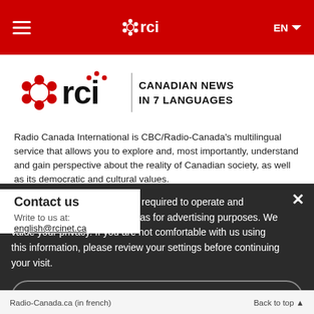RCI - Radio Canada International navigation bar with hamburger menu, RCI logo, and EN language selector
[Figure (logo): RCI Canadian News in 7 Languages logo with CBC gem]
Radio Canada International is CBC/Radio-Canada's multilingual service that allows you to explore and, most importantly, understand and gain perspective about the reality of Canadian society, as well as its democratic and cultural values.
Please know that cookies are required to operate and enhance our services as well as for advertising purposes. We value your privacy. If you are not comfortable with us using this information, please review your settings before continuing your visit.
Manage cookies ↗
More information ↗
Contact us
Write to us at:
english@rcinet.ca
Radio-Canada.ca (in french)   Back to top ▲